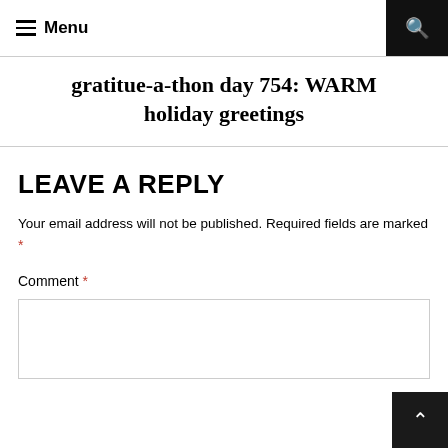Menu
gratitue-a-thon day 754: WARM holiday greetings
LEAVE A REPLY
Your email address will not be published. Required fields are marked *
Comment *